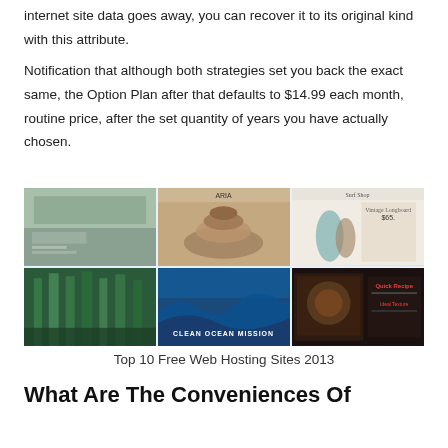internet site data goes away, you can recover it to its original kind with this attribute.
Notification that although both strategies set you back the exact same, the Option Plan after that defaults to $14.99 each month, routine price, after the set quantity of years you have actually chosen.
[Figure (screenshot): A collage of six website screenshots arranged in a 3x2 grid on a light blue background, with a blue 'Get Started' button centered at the top. Screenshots show various website designs including architecture, stacked stones/hats, surfboard shop, forest, ocean wave, and food/tablet.]
Top 10 Free Web Hosting Sites 2013
What Are The Conveniences Of